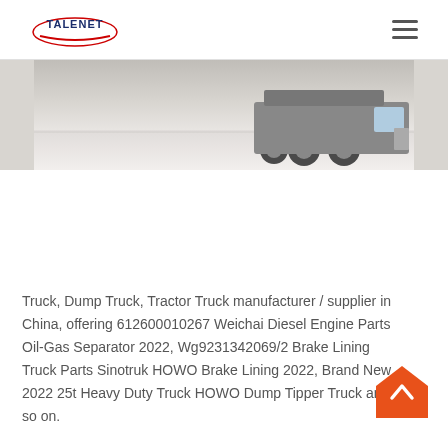TALENET
[Figure (photo): Partial view of a truck on a road, cropped at the top of the page]
Truck, Dump Truck, Tractor Truck manufacturer / supplier in China, offering 612600010267 Weichai Diesel Engine Parts Oil-Gas Separator 2022, Wg9231342069/2 Brake Lining Truck Parts Sinotruk HOWO Brake Lining 2022, Brand New 2022 25t Heavy Duty Truck HOWO Dump Tipper Truck and so on.